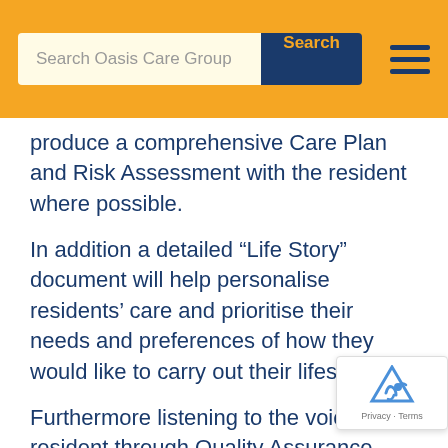Search Oasis Care Group | Search
produce a comprehensive Care Plan and Risk Assessment with the resident where possible.
In addition a detailed “Life Story” document will help personalise residents’ care and prioritise their needs and preferences of how they would like to carry out their lifestyles.
Furthermore listening to the voice of the resident through Quality Assurance policies, Dignity